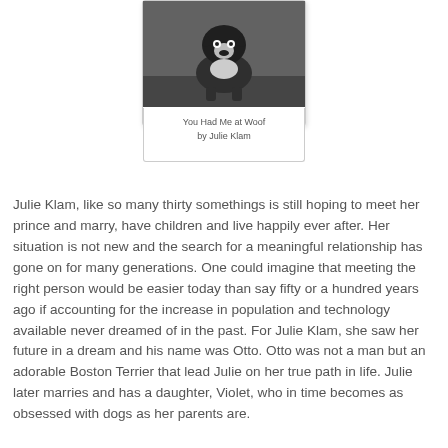[Figure (photo): Black and white photo of a Boston Terrier dog sitting on grass, with a book card/cover layout below showing the title]
You Had Me at Woof
by Julie Klam
Julie Klam, like so many thirty somethings is still hoping to meet her prince and marry, have children and live happily ever after. Her situation is not new and the search for a meaningful relationship has gone on for many generations. One could imagine that meeting the right person would be easier today than say fifty or a hundred years ago if accounting for the increase in population and technology available never dreamed of in the past. For Julie Klam, she saw her future in a dream and his name was Otto. Otto was not a man but an adorable Boston Terrier that lead Julie on her true path in life. Julie later marries and has a daughter, Violet, who in time becomes as obsessed with dogs as her parents are.